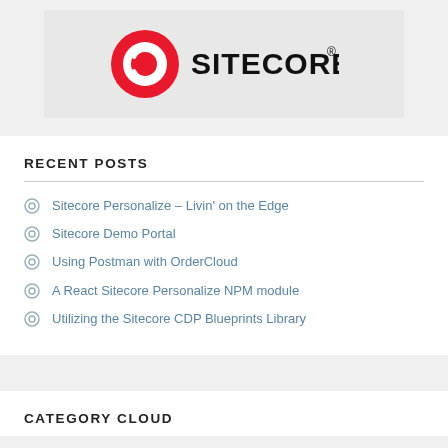[Figure (logo): Sitecore logo: red circle icon with white swirl and bold SITECORE text]
RECENT POSTS
Sitecore Personalize – Livin' on the Edge
Sitecore Demo Portal
Using Postman with OrderCloud
A React Sitecore Personalize NPM module
Utilizing the Sitecore CDP Blueprints Library
CATEGORY CLOUD